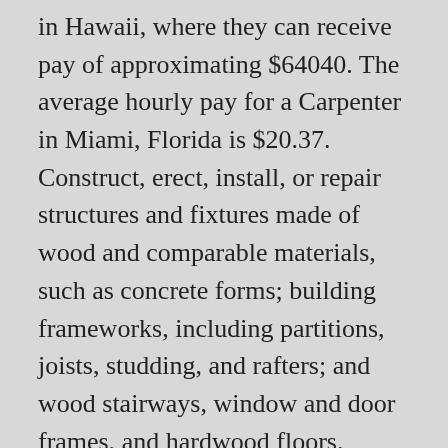in Hawaii, where they can receive pay of approximating $64040. The average hourly pay for a Carpenter in Miami, Florida is $20.37. Construct, erect, install, or repair structures and fixtures made of wood and comparable materials, such as concrete forms; building frameworks, including partitions, joists, studding, and rafters; and wood stairways, window and door frames, and hardwood floors. Average Carpenter Salary By Location. Todayâs top 1,000+ Union Carpenter jobs in Florida, United States. About Us. Salary : Competitive Salary estimates based on salary survey data collected directly from employers and anonymous employees in Orlando, Florida. Those in the lower 10%, such as entry-level